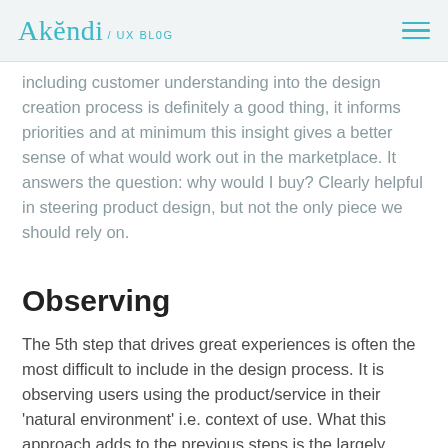Akëndi / UX BLOG
including customer understanding into the design creation process is definitely a good thing, it informs priorities and at minimum this insight gives a better sense of what would work out in the marketplace. It answers the question: why would I buy? Clearly helpful in steering product design, but not the only piece we should rely on.
Observing
The 5th step that drives great experiences is often the most difficult to include in the design process. It is observing users using the product/service in their 'natural environment' i.e. context of use. What this approach adds to the previous steps is the largely unfiltered view of how end users interact